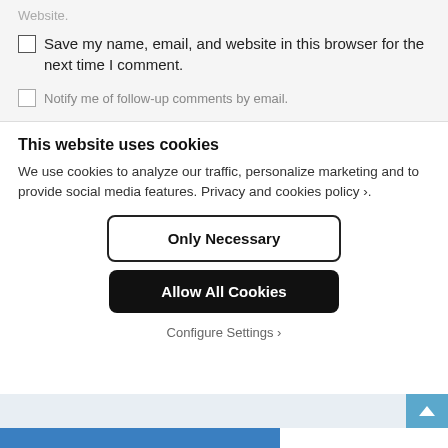Website.
Save my name, email, and website in this browser for the next time I comment.
Notify me of follow-up comments by email.
This website uses cookies
We use cookies to analyze our traffic, personalize marketing and to provide social media features. Privacy and cookies policy ›.
Only Necessary
Allow All Cookies
Configure Settings ›